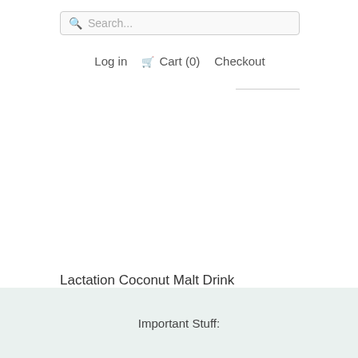Search...
Log in  Cart (0)  Checkout
Lactation Coconut Malt Drink Powder
$33.95
Important Stuff: